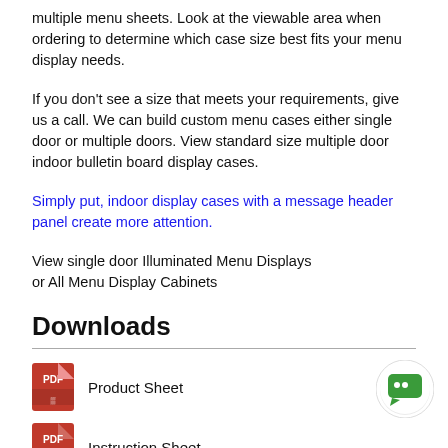multiple menu sheets. Look at the viewable area when ordering to determine which case size best fits your menu display needs.
If you don't see a size that meets your requirements, give us a call. We can build custom menu cases either single door or multiple doors. View standard size multiple door indoor bulletin board display cases.
Simply put, indoor display cases with a message header panel create more attention.
Downloads
Product Sheet
Instruction Sheet